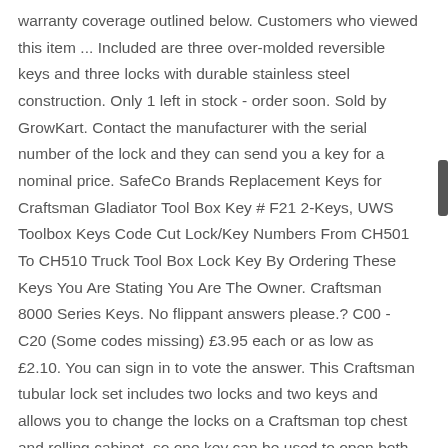warranty coverage outlined below. Customers who viewed this item ... Included are three over-molded reversible keys and three locks with durable stainless steel construction. Only 1 left in stock - order soon. Sold by GrowKart. Contact the manufacturer with the serial number of the lock and they can send you a key for a nominal price. SafeCo Brands Replacement Keys for Craftsman Gladiator Tool Box Key # F21 2-Keys, UWS Toolbox Keys Code Cut Lock/Key Numbers From CH501 To CH510 Truck Tool Box Lock Key By Ordering These Keys You Are Stating You Are The Owner. Craftsman 8000 Series Keys. No flippant answers please.? C00 - C20 (Some codes missing) £3.95 each or as low as £2.10. You can sign in to vote the answer. This Craftsman tubular lock set includes two locks and two keys and allows you to change the locks on a Craftsman top chest and rolling cabinet, so one key can be used to open both locks. 8001-8223 £3.95 each or as low as £2.10. Remove the lock if it is external and get a new lock for the box. UWS Toolbox Keys Code Cut Lock/Key Numbers From CH501 To CH510 Truck